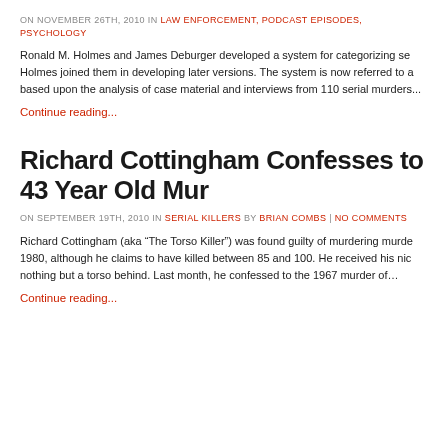ON NOVEMBER 26TH, 2010 IN LAW ENFORCEMENT, PODCAST EPISODES, PSYCHOLOGY
Ronald M. Holmes and James Deburger developed a system for categorizing se... Holmes joined them in developing later versions. The system is now referred to a... based upon the analysis of case material and interviews from 110 serial murders...
Continue reading...
Richard Cottingham Confesses to 43 Year Old Mur
ON SEPTEMBER 19TH, 2010 IN SERIAL KILLERS BY BRIAN COMBS | NO COMMENTS
Richard Cottingham (aka “The Torso Killer”) was found guilty of murdering murde... 1980, although he claims to have killed between 85 and 100. He received his nic... nothing but a torso behind. Last month, he confessed to the 1967 murder of…
Continue reading...